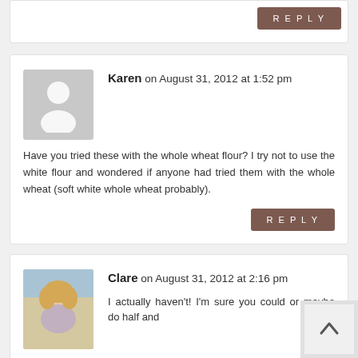REPLY
Karen on August 31, 2012 at 1:52 pm
Have you tried these with the whole wheat flour? I try not to use the white flour and wondered if anyone had tried them with the whole wheat (soft white whole wheat probably).
REPLY
Clare on August 31, 2012 at 2:16 pm
I actually haven't! I'm sure you could or maybe do half and half it...